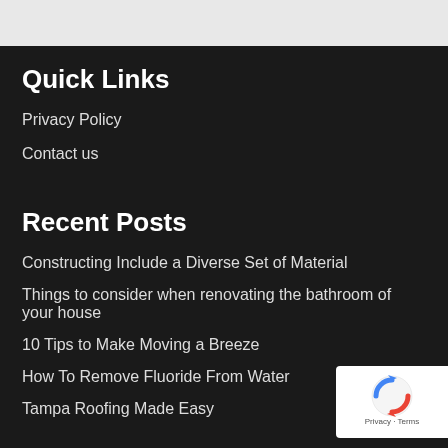Quick Links
Privacy Policy
Contact us
Recent Posts
Constructing Include a Diverse Set of Material
Things to consider when renovating the bathroom of your house
10 Tips to Make Moving a Breeze
How To Remove Fluoride From Water
Tampa Roofing Made Easy
[Figure (logo): Google reCAPTCHA badge with recycling arrows icon and Privacy/Terms links]